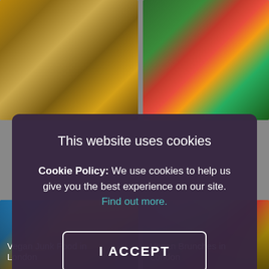[Figure (photo): Top-left: overhead shot of food dish with golden/brown tones]
[Figure (photo): Top-right: colorful floral arrangement with ornaments and green foliage]
[Figure (screenshot): Cookie consent modal overlay with dark purple background, title 'This website uses cookies', body text describing cookie policy with Find out more link, I ACCEPT button, and I DO NOT ACCEPT link]
This website uses cookies
Cookie Policy: We use cookies to help us give you the best experience on our site. Find out more.
I ACCEPT
I DO NOT ACCEPT
[Figure (photo): Bottom-left: vegan junk food dish, yellow and green tones]
Vegan Junk Food in London
[Figure (photo): Bottom-right: vegan brunch dish with greens and vegetables]
Vegan Brunches in London